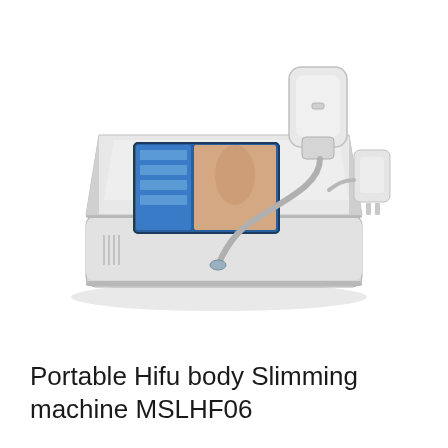[Figure (photo): Portable HIFU body slimming machine with touchscreen display showing anatomical images, a handheld ultrasound transducer probe, cable, and power connector. The device is white/light grey in color and sits on a flat base unit.]
Portable Hifu body Slimming machine MSLHF06